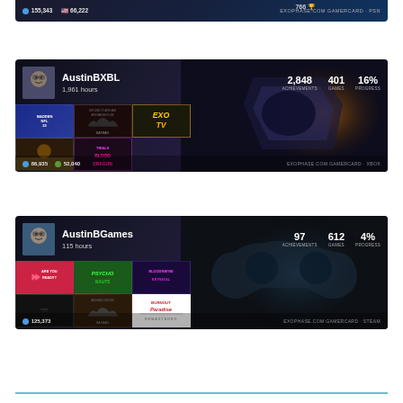[Figure (screenshot): Partial PSN gamercard for a user showing stats: 155,343 globe points, 66,222 US points, 766 something. Tomb Raider game. EXOPHASE.COM GAMERCARD - PSN branding.]
[Figure (screenshot): Xbox gamercard for AustinBXBL with 1,961 hours, 2,848 achievements, 401 games, 16% progress. Game thumbnails: Batman Return to Arkham, ExoTV, Madden NFL 22, unknown game, Trials Blood Dragon. Stats: 86,935 globe points, 52,040 Xbox points. EXOPHASE.COM GAMERCARD - XBOX.]
[Figure (screenshot): Steam gamercard for AustinBGames with 115 hours, 97 achievements, 612 games, 4% progress. Game thumbnails: Are You Ready?, Psychonauts, Bloodrayne Betrayal, Batman Arkham Origins, Burnout Paradise Remastered, unknown dark game. Stats: 125,373 globe points. EXOPHASE.COM GAMERCARD - STEAM.]